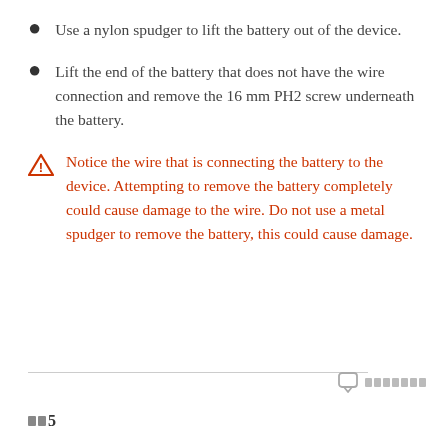Use a nylon spudger to lift the battery out of the device.
Lift the end of the battery that does not have the wire connection and remove the 16 mm PH2 screw underneath the battery.
Notice the wire that is connecting the battery to the device. Attempting to remove the battery completely could cause damage to the wire. Do not use a metal spudger to remove the battery, this could cause damage.
□□5